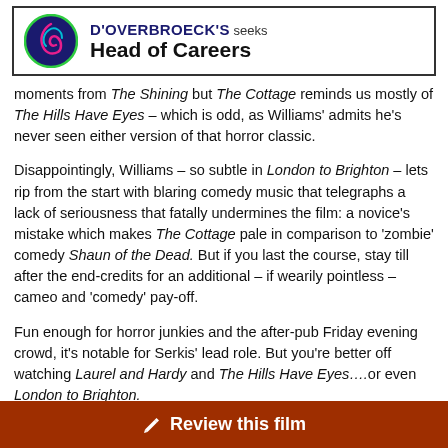[Figure (logo): D'Overbroeck's advertisement banner with circular logo and text 'D'OVERBROECK'S seeks Head of Careers']
moments from The Shining but The Cottage reminds us mostly of The Hills Have Eyes – which is odd, as Williams' admits he's never seen either version of that horror classic.
Disappointingly, Williams – so subtle in London to Brighton – lets rip from the start with blaring comedy music that telegraphs a lack of seriousness that fatally undermines the film: a novice's mistake which makes The Cottage pale in comparison to 'zombie' comedy Shaun of the Dead. But if you last the course, stay till after the end-credits for an additional – if wearily pointless – cameo and 'comedy' pay-off.
Fun enough for horror junkies and the after-pub Friday evening crowd, it's notable for Serkis' lead role. But you're better off watching Laurel and Hardy and The Hills Have Eyes….or even London to Brighton.
[Figure (other): Review this film button — dark orange/brown bar with pencil icon and white bold text]